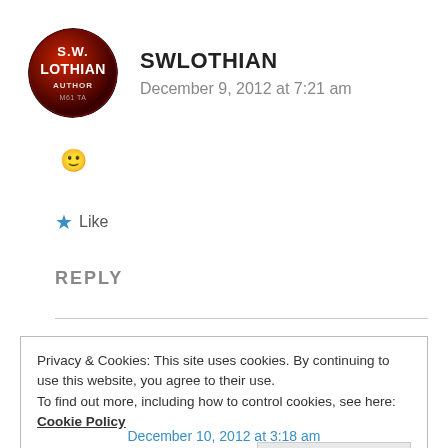[Figure (logo): Circular avatar/logo for S.W. Lothian Author with red and black design]
SWLOTHIAN
December 9, 2012 at 7:21 am
🙂
★ Like
REPLY
Privacy & Cookies: This site uses cookies. By continuing to use this website, you agree to their use.
To find out more, including how to control cookies, see here: Cookie Policy
Close and accept
December 10, 2012 at 3:18 am